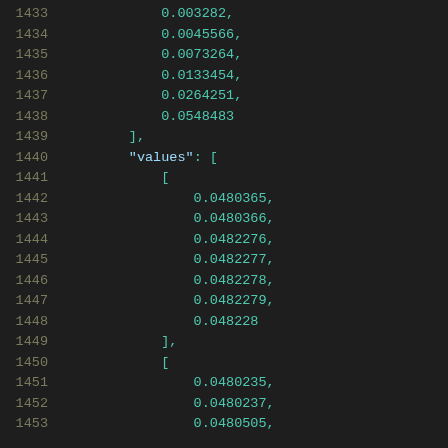Code listing lines 1433-1453 showing numeric array data in JSON-like format with values and nested arrays